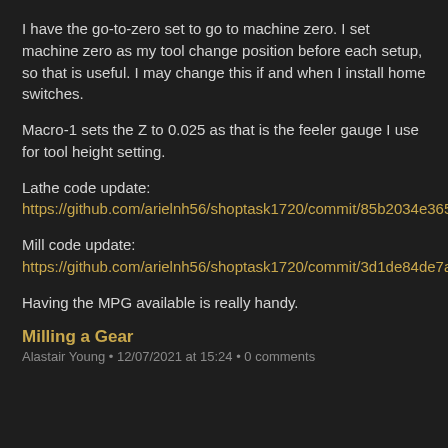I have the go-to-zero set to go to machine zero. I set machine zero as my tool change position before each setup, so that is useful. I may change this if and when I install home switches.
Macro-1 sets the Z to 0.025 as that is the feeler gauge I use for tool height setting.
Lathe code update: https://github.com/arielnh56/shoptask1720/commit/85b2034e365fe63b4d79b3ed27d1f3dde79f98ee
Mill code update: https://github.com/arielnh56/shoptask1720/commit/3d1de84de7ae257f491b138af5d7f085719d6b7f
Having the MPG available is really handy.
Milling a Gear
Alastair Young • 12/07/2021 at 15:24 • 0 comments